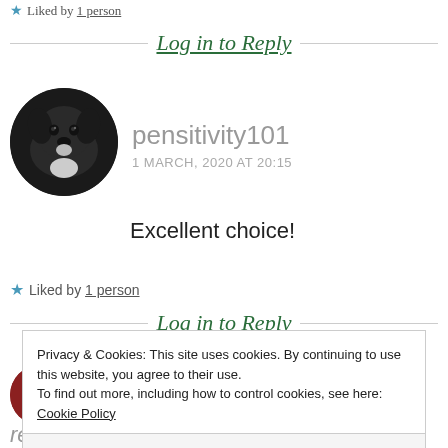Liked by 1 person
Log in to Reply
[Figure (photo): Circular avatar photo of a black dog looking at camera]
pensitivity101
1 MARCH, 2020 AT 20:15
Excellent choice!
Liked by 1 person
Log in to Reply
[Figure (photo): Partial circular avatar, reddish-brown color, cut off at bottom of page]
Privacy & Cookies: This site uses cookies. By continuing to use this website, you agree to their use.
To find out more, including how to control cookies, see here: Cookie Policy
Close and accept
reminder!